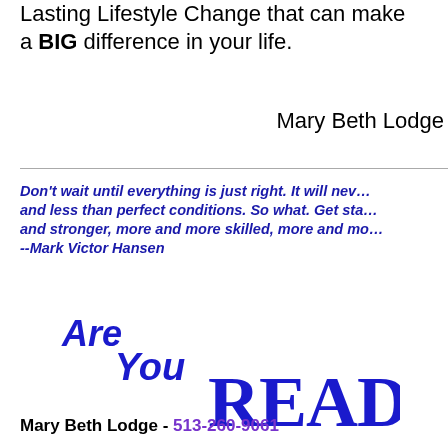Lasting Lifestyle Change that can make a BIG difference in your life.
Mary Beth Lodge
Don't wait until everything is just right. It will never be perfect. There will always be challenges, obstacles and less than perfect conditions. So what. Get started now. With each step you take, you will grow stronger and stronger, more and more skilled, more and more self-confident and more and more successful. --Mark Victor Hansen
[Figure (illustration): Stylized text reading 'Are You READY?' in large bold dark blue serif and italic fonts]
Mary Beth Lodge - 513-260-9061